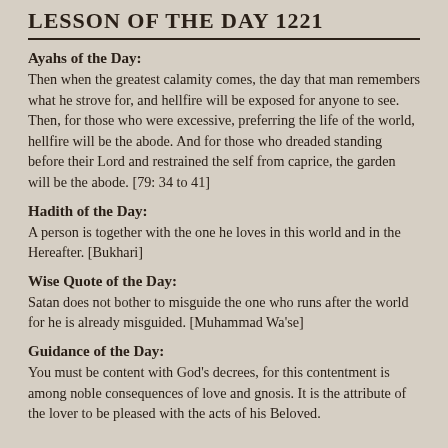LESSON OF THE DAY 1221
Ayahs of the Day:
Then when the greatest calamity comes, the day that man remembers what he strove for, and hellfire will be exposed for anyone to see. Then, for those who were excessive, preferring the life of the world, hellfire will be the abode. And for those who dreaded standing before their Lord and restrained the self from caprice, the garden will be the abode. [79: 34 to 41]
Hadith of the Day:
A person is together with the one he loves in this world and in the Hereafter. [Bukhari]
Wise Quote of the Day:
Satan does not bother to misguide the one who runs after the world for he is already misguided. [Muhammad Wa'se]
Guidance of the Day:
You must be content with God's decrees, for this contentment is among noble consequences of love and gnosis. It is the attribute of the lover to be pleased with the acts of his Beloved.